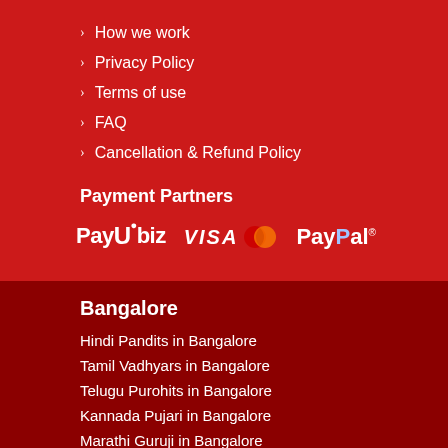How we work
Privacy Policy
Terms of use
FAQ
Cancellation & Refund Policy
Payment Partners
[Figure (logo): Payment partner logos: PayUbiz, VISA, MasterCard, PayPal]
Bangalore
Hindi Pandits in Bangalore
Tamil Vadhyars in Bangalore
Telugu Purohits in Bangalore
Kannada Pujari in Bangalore
Marathi Guruji in Bangalore
Malayalam Pandit in Bangalore
Odiya Purohits in Bangalore